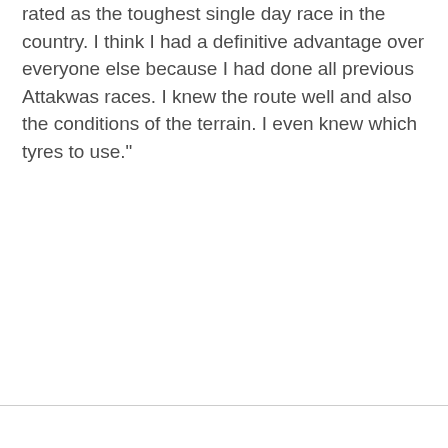rated as the toughest single day race in the country. I think I had a definitive advantage over everyone else because I had done all previous Attakwas races. I knew the route well and also the conditions of the terrain. I even knew which tyres to use."